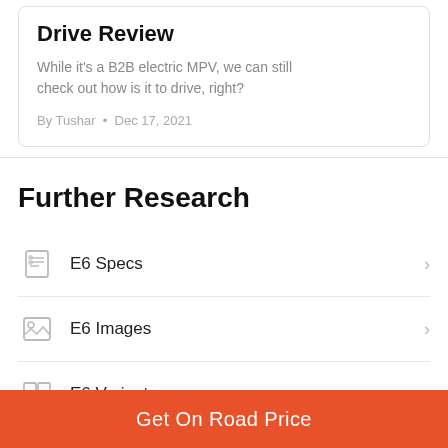Drive Review
While it's a B2B electric MPV, we can still check out how is it to drive, right?
By Tushar • Dec 17, 2021
Further Research
E6 Specs
E6 Images
E6 Variants
Get On Road Price